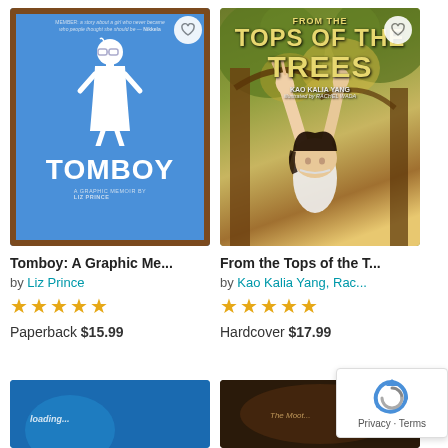[Figure (photo): Book cover for Tomboy: A Graphic Memoir by Liz Prince. Blue cover with brown border, white silhouette figure of a girl, title TOMBOY in white block letters.]
Tomboy: A Graphic Me...
by Liz Prince
★★★★★
Paperback $15.99
[Figure (photo): Book cover for From the Tops of the Trees by Kao Kalia Yang, illustrated by Rachel Wada. Olive/yellow-green cover showing a girl reaching upward through tree branches.]
From the Tops of the T...
by Kao Kalia Yang, Rac...
★★★★★
Hardcover $17.99
[Figure (photo): Partial book cover at bottom left, blue tones, partially visible.]
[Figure (photo): Partial book cover at bottom right, dark brown tones, partially visible.]
[Figure (screenshot): reCAPTCHA widget overlay in bottom right corner showing the reCAPTCHA logo and Privacy - Terms text.]